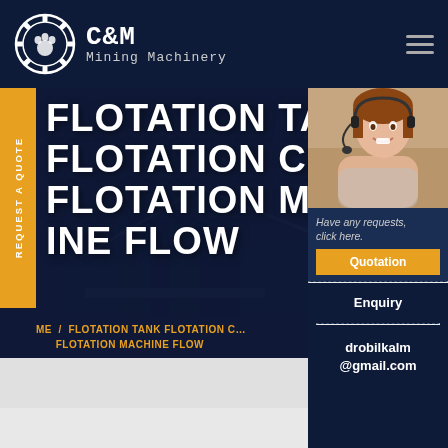[Figure (logo): C&M Mining Machinery logo with gear/claw icon circle and text]
FLOTATION TANK FLOTATION CELL FLOTATION MACHINE FLOW
[Figure (photo): Customer service representative woman with headset smiling]
Have any requests, click here.
Quotation
Enquiry
drobilkalm@gmail.com
REQUEST A QUOTE
ME / FLOTATION TANK FLOTATION CELL FLOTATION MACHINE FLOW